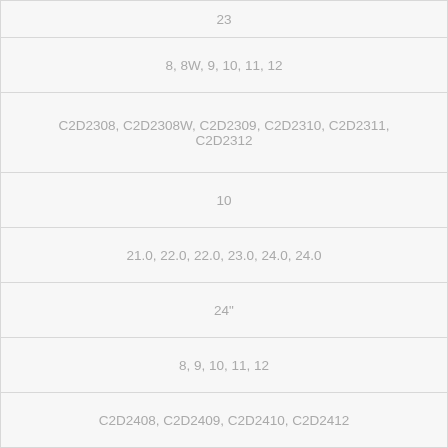| 23 |
| 8, 8W, 9, 10, 11, 12 |
| C2D2308, C2D2308W, C2D2309, C2D2310, C2D2311, C2D2312 |
| 10 |
| 21.0, 22.0, 22.0, 23.0, 24.0, 24.0 |
| 24" |
| 8, 9, 10, 11, 12 |
| C2D2408, C2D2409, C2D2410, C2D2412 |
| 10 |